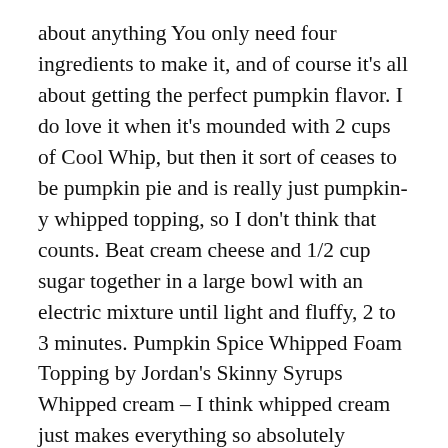about anything You only need four ingredients to make it, and of course it's all about getting the perfect pumpkin flavor. I do love it when it's mounded with 2 cups of Cool Whip, but then it sort of ceases to be pumpkin pie and is really just pumpkin-y whipped topping, so I don't think that counts. Beat cream cheese and 1/2 cup sugar together in a large bowl with an electric mixture until light and fluffy, 2 to 3 minutes. Pumpkin Spice Whipped Foam Topping by Jordan's Skinny Syrups Whipped cream – I think whipped cream just makes everything so absolutely gorgeous and irresistible. Fold in the whipped topping until smooth. Pumpkin is the quintessential fall ingredient. If you add whipped cream on top, the calorie count will go up to around 310 kcal. Paint the ridged rim of the paper plate light brown. Add a foam finish and flavor to coffee, lattes or any beverage. Enjoy! Blend in pumpkin and pie spice. The squash owes its